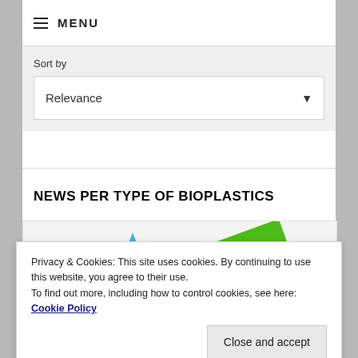≡ MENU
Sort by
Relevance
NEWS PER TYPE OF BIOPLASTICS
[Figure (photo): Colorful plastic or bioplastic pieces: blue triangle shapes, green crumpled piece, yellow and red flat pieces on white background]
Privacy & Cookies: This site uses cookies. By continuing to use this website, you agree to their use.
To find out more, including how to control cookies, see here: Cookie Policy
Close and accept